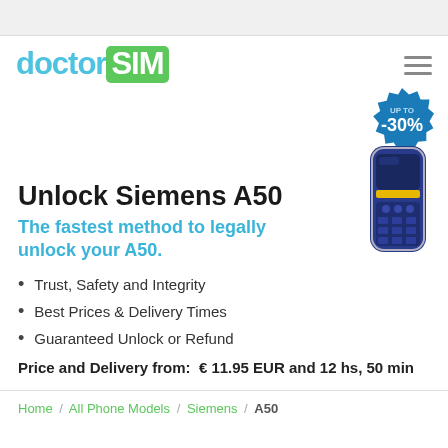doctorSIM
[Figure (illustration): DoctorSIM logo with 'doctor' in light blue and 'SIM' in white on a green rounded rectangle background]
[Figure (infographic): Circular starburst badge in dark blue with text 'UP TO -30%']
[Figure (photo): Siemens A50 mobile phone, navy blue and silver, classic candybar style with yellow accent on screen area]
Unlock Siemens A50
The fastest method to legally unlock your A50.
Trust, Safety and Integrity
Best Prices & Delivery Times
Guaranteed Unlock or Refund
Price and Delivery from:  € 11.95 EUR and 12 hs, 50 min
Home / All Phone Models / Siemens / A50